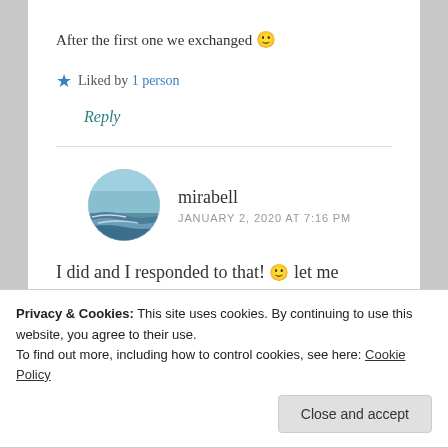After the first one we exchanged 🙂
★ Liked by 1 person
Reply
mirabell
JANUARY 2, 2020 AT 7:16 PM
I did and I responded to that! 🙂 let me
Privacy & Cookies: This site uses cookies. By continuing to use this website, you agree to their use.
To find out more, including how to control cookies, see here: Cookie Policy
Close and accept